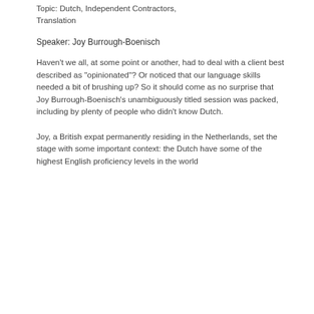Topic: Dutch, Independent Contractors, Translation
Speaker: Joy Burrough-Boenisch
Haven't we all, at some point or another, had to deal with a client best described as "opinionated"? Or noticed that our language skills needed a bit of brushing up? So it should come as no surprise that Joy Burrough-Boenisch's unambiguously titled session was packed, including by plenty of people who didn't know Dutch.
Joy, a British expat permanently residing in the Netherlands, set the stage with some important context: the Dutch have some of the highest English proficiency levels in the world